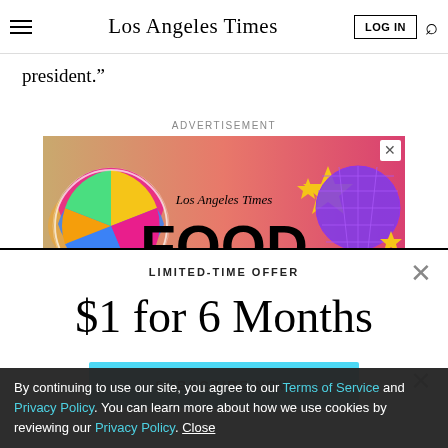Los Angeles Times
president."
ADVERTISEMENT
[Figure (illustration): Los Angeles Times FOOD advertisement banner with colorful beach ball and disco ball graphics on gradient background]
LIMITED-TIME OFFER
$1 for 6 Months
SUBSCRIBE NOW
By continuing to use our site, you agree to our Terms of Service and Privacy Policy. You can learn more about how we use cookies by reviewing our Privacy Policy. Close